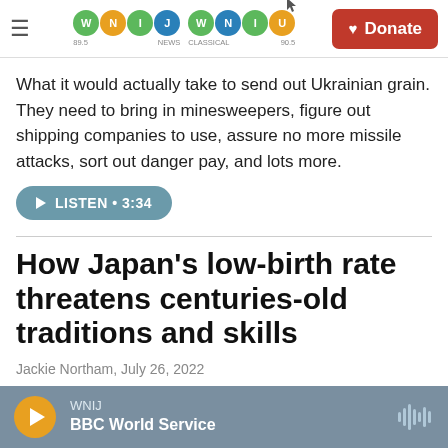WNIJ 89.5 NEWS | WNIU CLASSICAL 90.5 | Donate
What it would actually take to send out Ukrainian grain. They need to bring in minesweepers, figure out shipping companies to use, assure no more missile attacks, sort out danger pay, and lots more.
LISTEN • 3:34
How Japan's low-birth rate threatens centuries-old traditions and skills
Jackie Northam, July 26, 2022
WNIJ BBC World Service